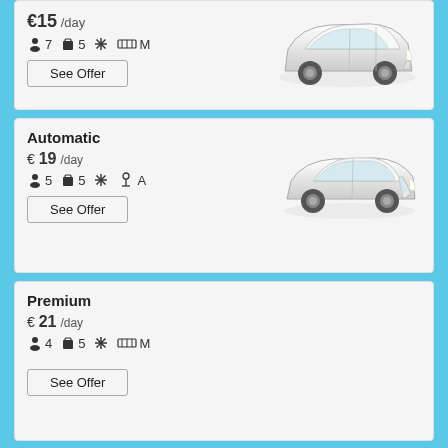€15 /day | 7 passengers | 5 bags | AC | M transmission | See Offer
[Figure (photo): White Opel Zafira or similar MPV car, front-side view]
Automatic
€ 19 /day | 5 passengers | 5 bags | AC | A transmission | See Offer
[Figure (photo): White Volvo V40 or similar hatchback car, front-side view]
Premium
€ 21 /day | 4 passengers | 5 bags | AC | M transmission | See Offer
Vans
€ 21 /day